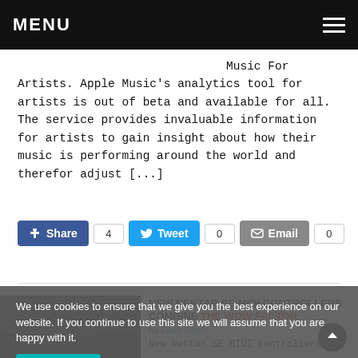MENU
Music For Artists. Apple Music's analytics tool for artists is out of beta and available for all. The service provides invaluable information for artists to gain insight about how their music is performing around the world and therefor adjust [...]
Share 4 | Tweet 0 | Email 0
NEW NEKTAR SE MIDI CONTROLLERS COMBINE THE WOW FACTOR
New Nektar SE MIDI controllers
We use cookies to ensure that we give you the best experience on our website. If you continue to use this site we will assume that you are happy with it.